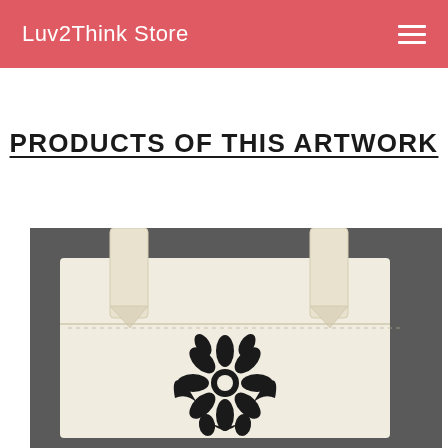Luv2Think Store
PRODUCTS OF THIS ARTWORK
[Figure (photo): A cream/off-white canvas tote bag on a dark grey background, featuring a black decorative mandala/floral motif printed on the front.]